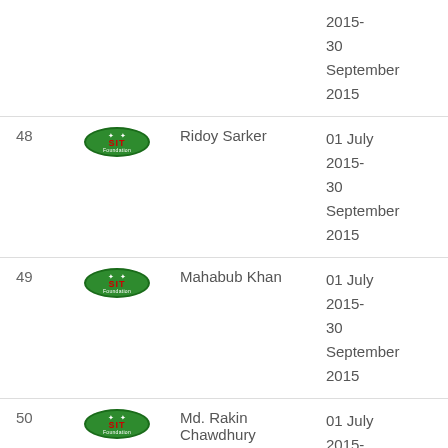| # | Logo | Name | Date | Member ID |
| --- | --- | --- | --- | --- |
|  |  |  | 2015- 30 September 2015 |  |
| 48 | SIT Foundation | Ridoy Sarker | 01 July 2015- 30 September 2015 | M- 319 |
| 49 | SIT Foundation | Mahabub Khan | 01 July 2015- 30 September 2015 | M- 320 |
| 50 | SIT Foundation | Md. Rakin Chawdhury | 01 July 2015- 30 September 2015 (partial) | M- 321 |